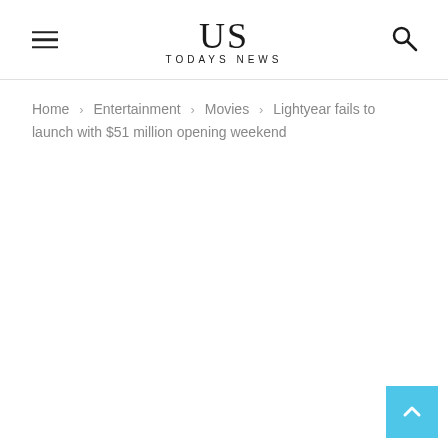US TODAYS NEWS
Home › Entertainment › Movies › Lightyear fails to launch with $51 million opening weekend